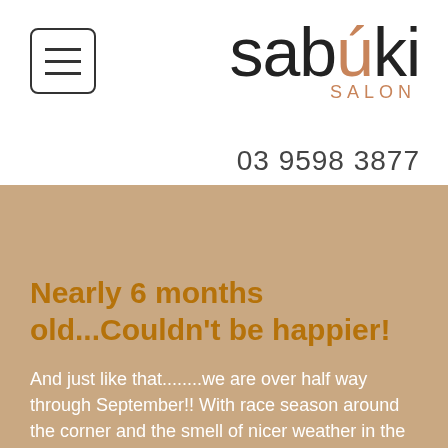[Figure (logo): Sabúki Salon logo with hamburger menu icon on the left and stylized 'sabúki' wordmark with 'SALON' subtitle on the right]
03 9598 3877
Nearly 6 months old...Couldn't be happier!
And just like that........we are over half way through September!! With race season around the corner and the smell of nicer weather in the air all of my team @ Sabúki Salon is feeling